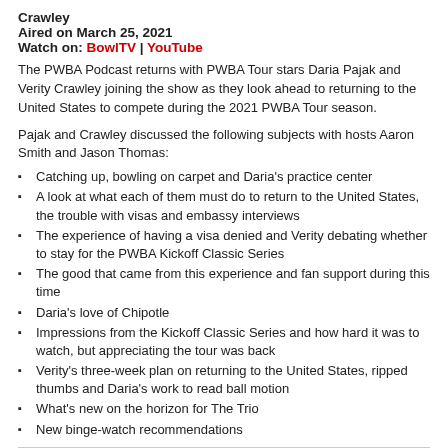Crawley
Aired on March 25, 2021
Watch on: BowlTV | YouTube
The PWBA Podcast returns with PWBA Tour stars Daria Pajak and Verity Crawley joining the show as they look ahead to returning to the United States to compete during the 2021 PWBA Tour season.
Pajak and Crawley discussed the following subjects with hosts Aaron Smith and Jason Thomas:
Catching up, bowling on carpet and Daria's practice center
A look at what each of them must do to return to the United States, the trouble with visas and embassy interviews
The experience of having a visa denied and Verity debating whether to stay for the PWBA Kickoff Classic Series
The good that came from this experience and fan support during this time
Daria's love of Chipotle
Impressions from the Kickoff Classic Series and how hard it was to watch, but appreciating the tour was back
Verity's three-week plan on returning to the United States, ripped thumbs and Daria's work to read ball motion
What's new on the horizon for The Trio
New binge-watch recommendations